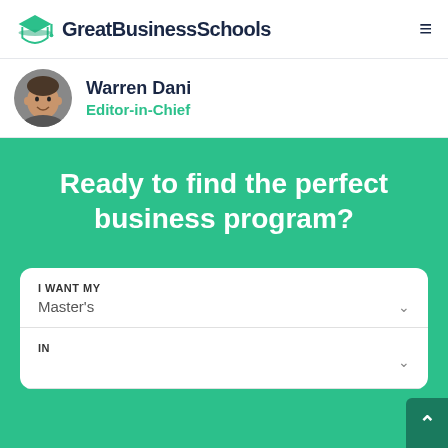GreatBusinessSchools
Warren Dani
Editor-in-Chief
Ready to find the perfect business program?
I WANT MY
Master's
IN